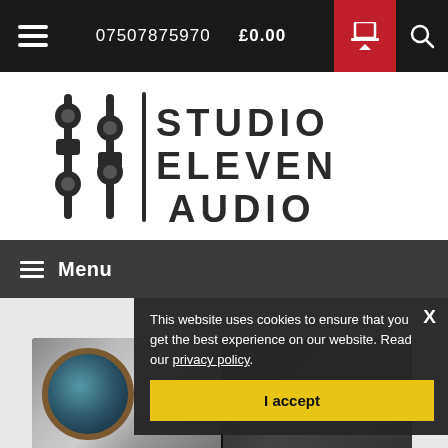07507875970  £0.00
[Figure (logo): Studio Eleven Audio logo with mixer fader graphic and bold stacked text: STUDIO ELEVEN AUDIO]
Menu
[Figure (photo): Partial view of audio equipment product in dark display case]
This website uses cookies to ensure that you get the best experience on our website. Read our privacy policy.
I accept